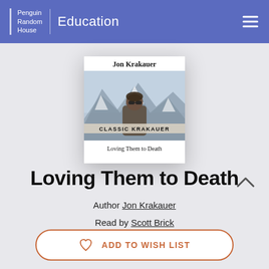Penguin Random House | Education
[Figure (illustration): Book cover for 'Loving Them to Death' by Jon Krakauer. Classic Krakauer series. Shows a man in sunglasses against a snowy mountain background. White cover with title at bottom.]
Loving Them to Death
Author Jon Krakauer
Read by Scott Brick
ADD TO WISH LIST